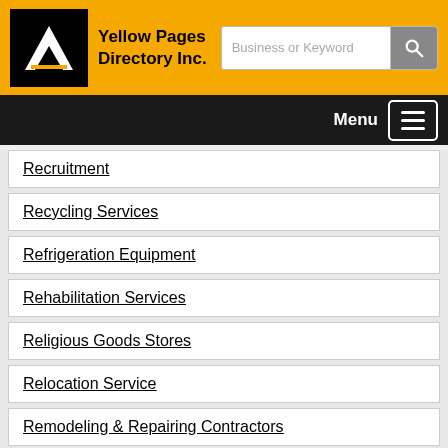Yellow Pages Directory Inc.
Recruitment
Recycling Services
Refrigeration Equipment
Rehabilitation Services
Religious Goods Stores
Relocation Service
Remodeling & Repairing Contractors
Rent to Own